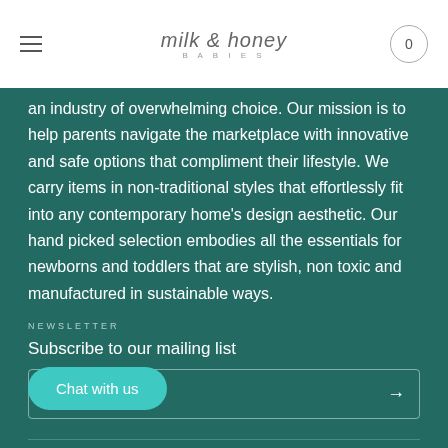milk & honey BABIES
an industry of overwhelming choice. Our mission is to help parents navigate the marketplace with innovative and safe options that compliment their lifestyle. We carry items in non-traditional styles that effortlessly fit into any contemporary home's design aesthetic. Our hand picked selection embodies all the essentials for newborns and toddlers that are stylish, non toxic and manufactured in sustainable ways.
NEWSLETTER
Subscribe to our mailing list
Chat with us